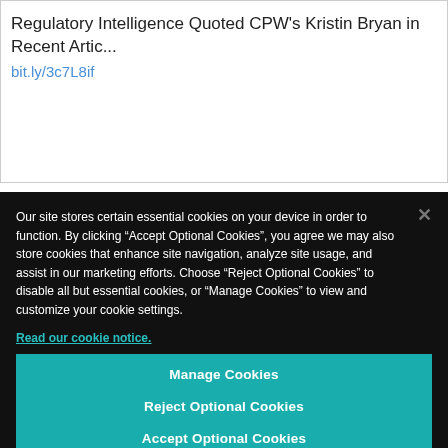Regulatory Intelligence Quoted CPW's Kristin Bryan in Recent Artic...
bit.ly/3c7L8if
Our site stores certain essential cookies on your device in order to function. By clicking “Accept Optional Cookies”, you agree we may also store cookies that enhance site navigation, analyze site usage, and assist in our marketing efforts. Choose “Reject Optional Cookies” to disable all but essential cookies, or “Manage Cookies” to view and customize your cookie settings.
Read our cookie notice.
Manage Cookies
Reject Optional Cookies
Accept Optional Cookies